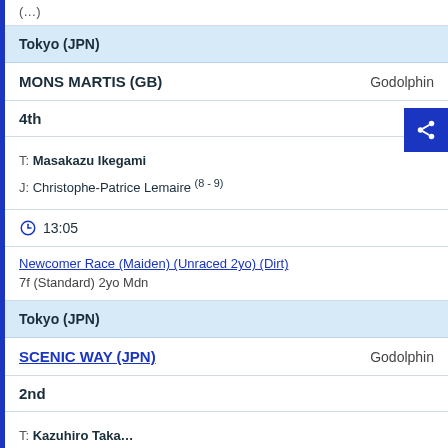(…)
Tokyo (JPN)
MONS MARTIS (GB)    Godolphin
4th
T: Masakazu Ikegami
J: Christophe-Patrice Lemaire (8 - 9)
13:05
Newcomer Race (Maiden) (Unraced 2yo) (Dirt)
7f (Standard) 2yo Mdn
Tokyo (JPN)
SCENIC WAY (JPN)    Godolphin
2nd
T: Kazuhiro Taka…